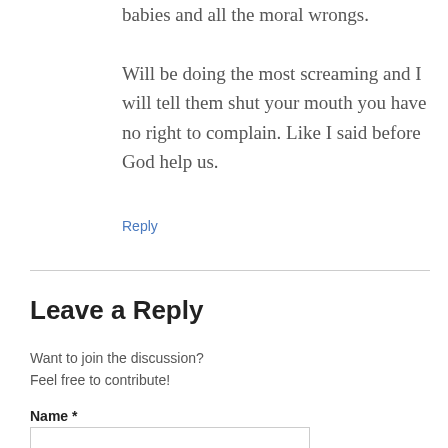babies and all the moral wrongs. Will be doing the most screaming and I will tell them shut your mouth you have no right to complain. Like I said before God help us.
Reply
Leave a Reply
Want to join the discussion?
Feel free to contribute!
Name *